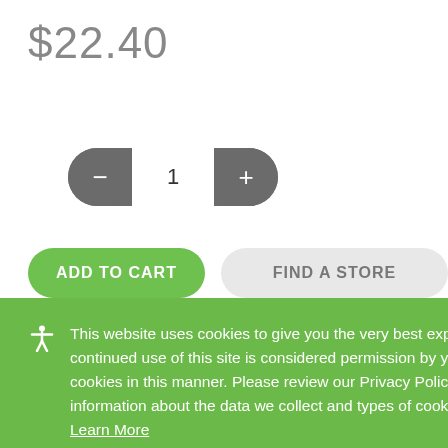$22.40
[Figure (other): Quantity selector control with minus button, number 1, and plus button on a dark gray pill-shaped background]
[Figure (other): Two buttons: green 'ADD TO CART' button and gray 'FIND A STORE' button]
This website uses cookies to give you the very best experience. Your continued use of this site is considered permission by you to use cookies in this manner. Please review our Privacy Policy for more information about the data we collect and types of cookies that use. Learn More
Accept & Close